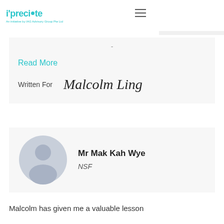i'preciate — An initiative by IAG Advisory Group Pte Ltd
allows me in
-
Read More
Written For  Malcolm Ling
[Figure (illustration): Generic user avatar silhouette placeholder icon in grey/blue-grey tones]
Mr Mak Kah Wye
NSF
Malcolm has given me a valuable lesson